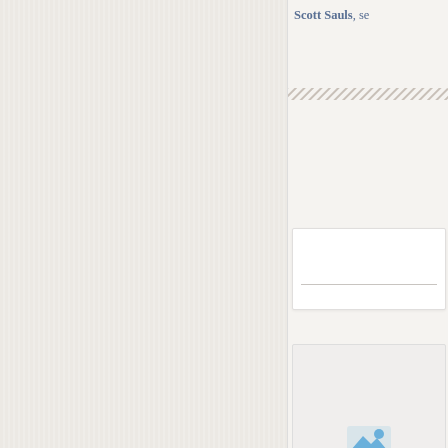Scott Sauls, se
[Figure (other): Hatched/striped decorative bar element]
[Figure (other): White card panel with horizontal divider line]
[Figure (other): Picture not available placeholder with blue icon and text reading PICTU... AVA...]
[Figure (other): Partial view of another picture placeholder card at bottom]